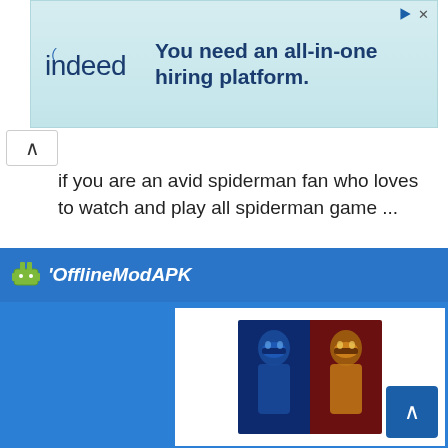[Figure (screenshot): Indeed advertisement banner: 'You need an all-in-one hiring platform.' with Indeed logo on light teal background. Close/play buttons in top right.]
If you are an avid spiderman fan who loves to watch and play all spiderman game ...
READ MORE
[Figure (logo): OfflineModAPK logo with Android robot icon and italic white text on blue background]
[Figure (photo): Mortal Kombat game character artwork showing two fighters (Sub-Zero and Scorpion) on a dark blue/red split background, displayed in a white card on blue background]